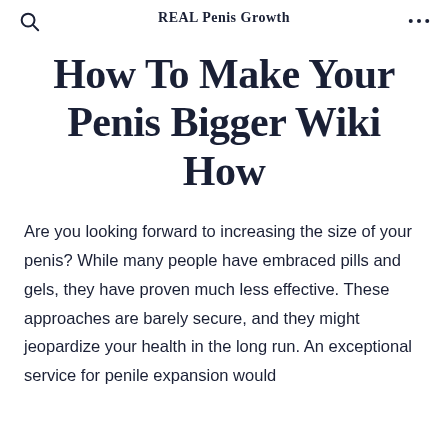REAL Penis Growth
How To Make Your Penis Bigger Wiki How
Are you looking forward to increasing the size of your penis? While many people have embraced pills and gels, they have proven much less effective. These approaches are barely secure, and they might jeopardize your health in the long run. An exceptional service for penile expansion would